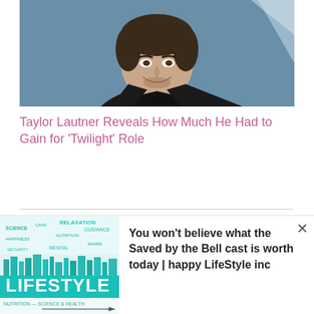[Figure (photo): Headshot photo of Taylor Lautner, a young man with dark hair and stubble beard, wearing a black shirt and black jacket, against a blue-grey background.]
Taylor Lautner Reveals How Much He Had to Gain for 'Twilight' Role
[Figure (infographic): Advertisement banner showing a lifestyle magazine image with the word LIFESTYLE in teal letters, along with a word cloud including words like HAPPINESS, RELAXATION, CARE, SCIENCE, NUTRITION, and an image of a pen writing.]
You won't believe what the Saved by the Bell cast is worth today | happy LifeStyle inc